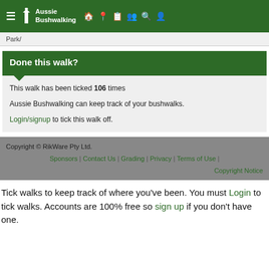Aussie Bushwalking
Park/
Done this walk?
This walk has been ticked 106 times
Aussie Bushwalking can keep track of your bushwalks.
Login/signup to tick this walk off.
Copyright © RikWare Pty Ltd.
Sponsors | Contact Us | Grading | Privacy | Terms of Use |
Copyright Notice
Tick walks to keep track of where you've been. You must Login to tick walks. Accounts are 100% free so sign up if you don't have one.